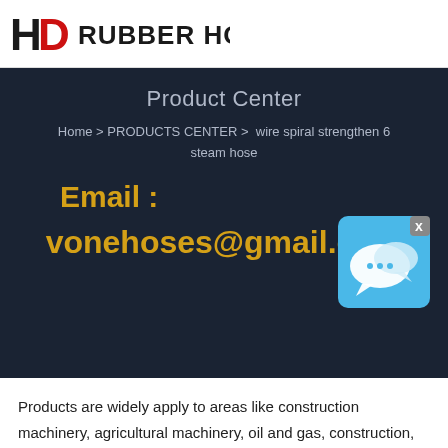[Figure (logo): HD Rubber Hose logo with red D letter mark and bold black text]
Product Center
Home > PRODUCTS CENTER >  wire spiral strengthen 6 steam hose
Email :
vonehoses@gmail.com
[Figure (illustration): Chat bubble icon in blue square with X close button]
Products are widely apply to areas like construction machinery, agricultural machinery, oil and gas, construction, steel, chemical, power generation, mining, railway,